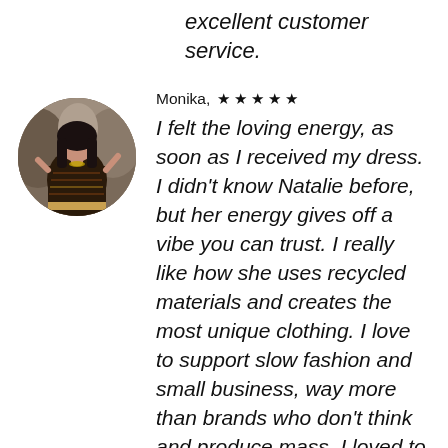excellent customer service.
[Figure (photo): Circular profile photo of reviewer Monika wearing a dark patterned dress, standing against a rocky background]
Monika, ★ ★ ★ ★ ★
I felt the loving energy, as soon as I received my dress. I didn't know Natalie before, but her energy gives off a vibe you can trust. I really like how she uses recycled materials and creates the most unique clothing. I love to support slow fashion and small business, way more than brands who don't think and produce mass. I loved to know, my purchase made her happy (and who knows, payed for her food). I hope and wish you will experience the same, when